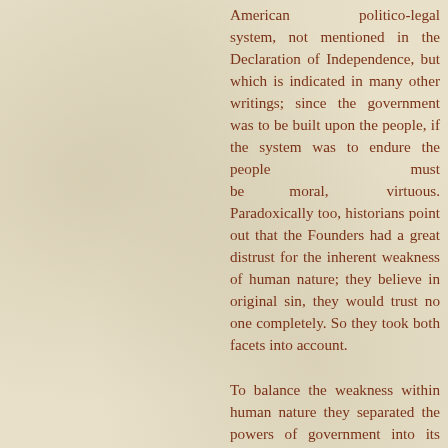American politico-legal system, not mentioned in the Declaration of Independence, but which is indicated in many other writings; since the government was to be built upon the people, if the system was to endure the people must be moral, virtuous. Paradoxically too, historians point out that the Founders had a great distrust for the inherent weakness of human nature; they believe in original sin, they would trust no one completely. So they took both facets into account.
To balance the weakness within human nature they separated the powers of government into its three natural divisions. The legislative would be separate from the executive, the judicial